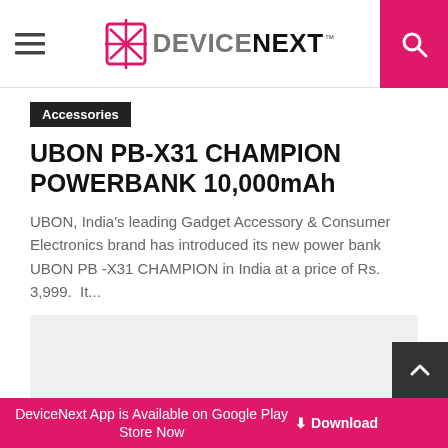DeviceNext
Accessories
UBON PB-X31 CHAMPION POWERBANK 10,000mAh
UBON, India's leading Gadget Accessory & Consumer Electronics brand has introduced its new power bank UBON PB -X31 CHAMPION in India at a price of Rs. 3,999.  It...
[Figure (photo): Gray placeholder image area for article photo]
DeviceNext App is Available on Google Play Store Now  Download